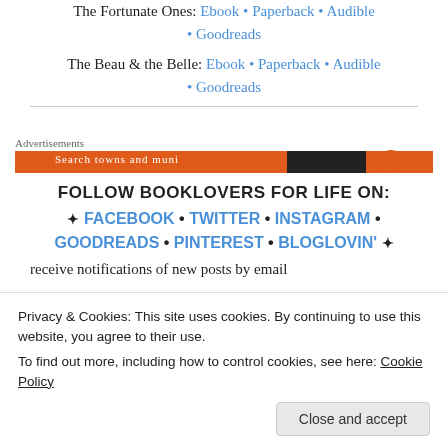The Fortunate Ones: Ebook • Paperback • Audible • Goodreads
The Beau & the Belle: Ebook • Paperback • Audible • Goodreads
[Figure (other): Advertisements banner with orange and dark gradient bar]
FOLLOW BOOKLOVERS FOR LIFE ON:
✦ FACEBOOK • TWITTER • INSTAGRAM • GOODREADS • PINTEREST • BLOGLOVIN' ✦
Privacy & Cookies: This site uses cookies. By continuing to use this website, you agree to their use.
To find out more, including how to control cookies, see here: Cookie Policy
receive notifications of new posts by email